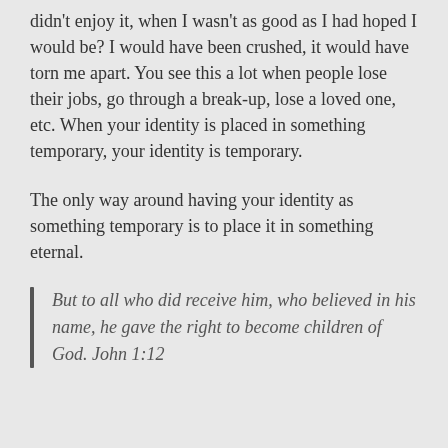didn't enjoy it, when I wasn't as good as I had hoped I would be? I would have been crushed, it would have torn me apart. You see this a lot when people lose their jobs, go through a break-up, lose a loved one, etc. When your identity is placed in something temporary, your identity is temporary.
The only way around having your identity as something temporary is to place it in something eternal.
But to all who did receive him, who believed in his name, he gave the right to become children of God. John 1:12